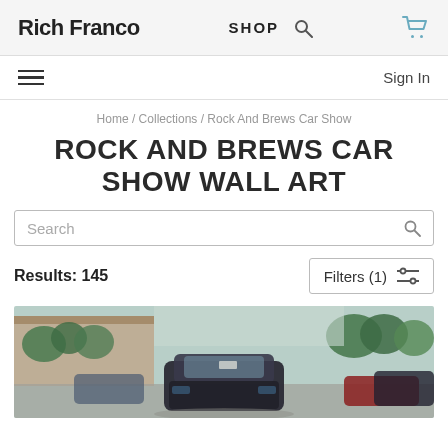Rich Franco | SHOP | [search icon] | [cart icon]
[hamburger menu] | Sign In
Home / Collections / Rock And Brews Car Show
ROCK AND BREWS CAR SHOW WALL ART
Search
Results: 145
Filters (1)
[Figure (photo): Outdoor car show photo showing a dark colored car (front/top view) in a parking lot surrounded by green trees and a building in the background. Other cars visible in the background including red and dark vehicles.]